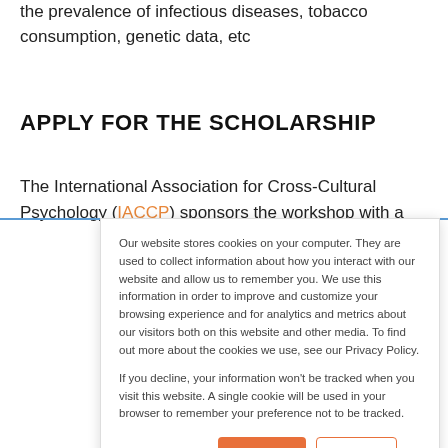the prevalence of infectious diseases, tobacco consumption, genetic data, etc
APPLY FOR THE SCHOLARSHIP
The International Association for Cross-Cultural Psychology (IACCP) sponsors the workshop with a
Our website stores cookies on your computer. They are used to collect information about how you interact with our website and allow us to remember you. We use this information in order to improve and customize your browsing experience and for analytics and metrics about our visitors both on this website and other media. To find out more about the cookies we use, see our Privacy Policy.

If you decline, your information won't be tracked when you visit this website. A single cookie will be used in your browser to remember your preference not to be tracked.